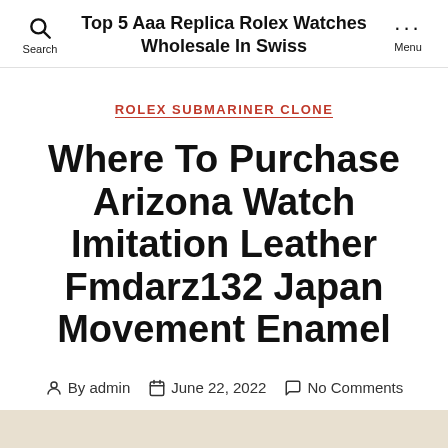Top 5 Aaa Replica Rolex Watches Wholesale In Swiss
ROLEX SUBMARINER CLONE
Where To Purchase Arizona Watch Imitation Leather Fmdarz132 Japan Movement Enamel
By admin  June 22, 2022  No Comments